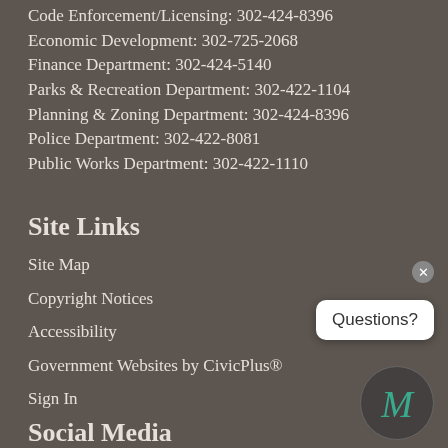Code Enforcement/Licensing: 302-424-8396
Economic Development: 302-725-2068
Finance Department: 302-424-5140
Parks & Recreation Department: 302-422-1104
Planning & Zoning Department: 302-424-8396
Police Department: 302-422-8081
Public Works Department: 302-422-1110
Site Links
Site Map
Copyright Notices
Accessibility
Government Websites by CivicPlus®
Sign In
Social Media